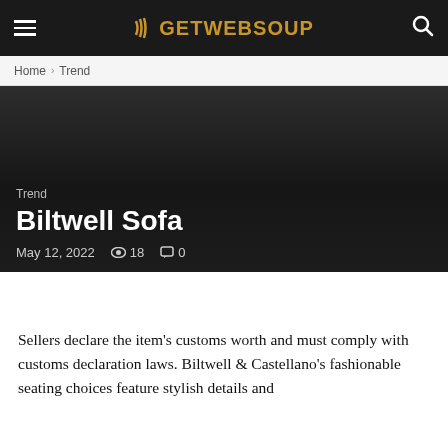≡  GETWEBSOUP  🔍
Home › Trend
Trend
Biltwell Sofa
May 12, 2022   👁 18   💬 0
Sellers declare the item's customs worth and must comply with customs declaration laws. Biltwell & Castellano's fashionable seating choices feature stylish details and